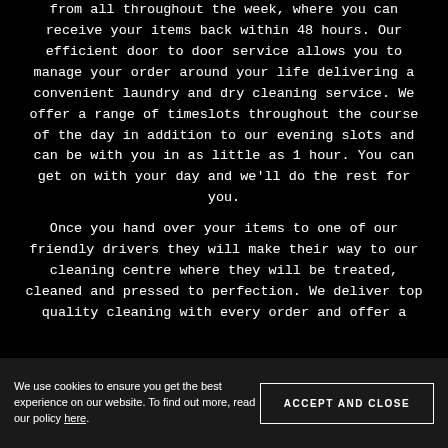from all throughout the week, where you can receive your items back within 48 hours. Our efficient door to door service allows you to manage your order around your life delivering a convenient laundry and dry cleaning service. We offer a range of timeslots throughout the course of the day in addition to our evening slots and can be with you in as little as 1 hour. You can get on with your day and we'll do the rest for you.

Once you hand over your items to one of our friendly drivers they will make their way to our cleaning centre where they will be treated, cleaned and pressed to perfection. We deliver top quality cleaning with every order and offer a
We use cookies to ensure you get the best experience on our website. To find out more, read our policy here.
ACCEPT AND CLOSE